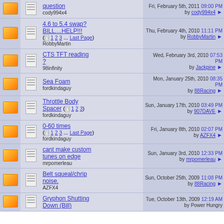|  |  | Topic | Last Post |
| --- | --- | --- | --- |
| [folder] | [doc] | question
cody994x4 | Fri, February 5th, 2011 09:00 PM
by cody994x4 |
| [folder] | [doc] | 4.6 to 5.4 swap? BILL....HELP!!! (1 2 3 ... Last Page)
RobbyMartin | Thu, February 4th, 2010 11:11 PM
by RobbyMartin |
| [folder] | [doc] | CTS TFT reading ?
98infinity | Wed, February 3rd, 2010 07:53 PM
by Jackpine |
| [folder] | [doc] | Sea Foam
fordkindaguy | Mon, January 25th, 2010 08:35 PM
by 88Racing |
| [folder] | [doc] | Throttle Body Spacer (1 2 3)
fordkindaguy | Sun, January 17th, 2010 03:49 PM
by 907DAVE |
| [folder] | [doc] | 0-60 times (1 2 3 ... Last Page)
fordkindaguy | Fri, January 8th, 2010 02:07 PM
by AZFX4 |
| [folder] | [doc] | cant make custom tunes on edge
mrpomerleau | Sun, January 3rd, 2010 12:33 PM
by mrpomerleau |
| [folder] | [doc] | Belt squeal/chrip noise.
AZFX4 | Sun, October 25th, 2009 11:08 PM
by 88Racing |
| [folder] | [doc] | Gryphon Shutting Down (Bill) | Tue, October 13th, 2009 12:19 AM
by Power Hungry |